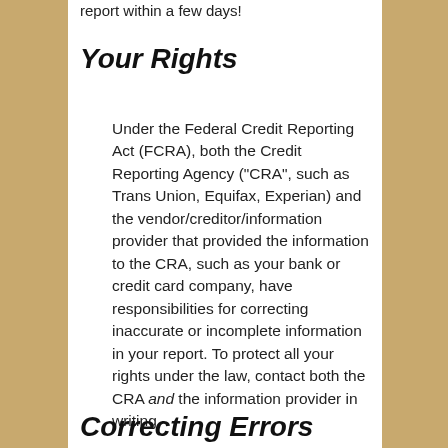report within a few days!
Your Rights
Under the Federal Credit Reporting Act (FCRA), both the Credit Reporting Agency ("CRA", such as Trans Union, Equifax, Experian) and the vendor/creditor/information provider that provided the information to the CRA, such as your bank or credit card company, have responsibilities for correcting inaccurate or incomplete information in your report. To protect all your rights under the law, contact both the CRA and the information provider in writing.
Correcting Errors